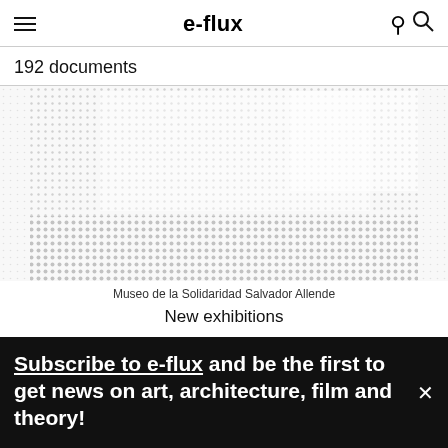e-flux
192 documents
[Figure (illustration): Dotted/halftone pattern artwork image, grayscale, serving as a thumbnail for Museo de la Solidaridad Salvador Allende]
Museo de la Solidaridad Salvador Allende
New exhibitions
Subscribe to e-flux and be the first to get news on art, architecture, film and theory!